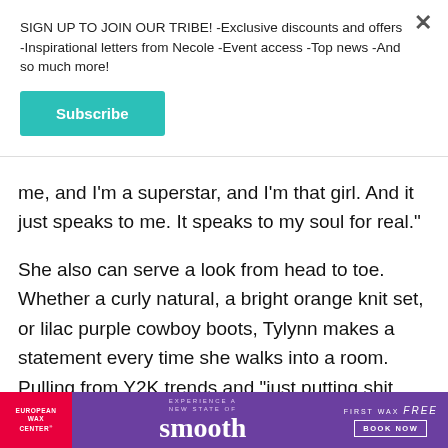SIGN UP TO JOIN OUR TRIBE! -Exclusive discounts and offers -Inspirational letters from Necole -Event access -Top news -And so much more!
[Figure (other): Teal/turquoise Subscribe button]
me, and I'm a superstar, and I'm that girl. And it just speaks to me. It speaks to my soul for real."
She also can serve a look from head to toe. Whether a curly natural, a bright orange knit set, or lilac purple cowboy boots, Tylynn makes a statement every time she walks into a room. Pulling from Y2K trends and "just putting shit together," the 27-year-
[Figure (infographic): European Wax Center advertisement banner: red panel with brand name, purple background with 'smooth' text, right side showing 'First Wax free Book Now']